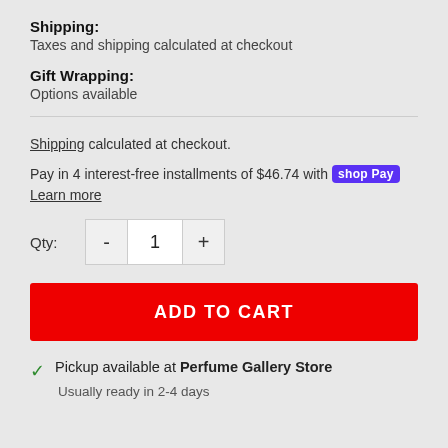Shipping: Taxes and shipping calculated at checkout
Gift Wrapping: Options available
Shipping calculated at checkout.
Pay in 4 interest-free installments of $46.74 with shop Pay Learn more
Qty: 1
ADD TO CART
Pickup available at Perfume Gallery Store
Usually ready in 2-4 days